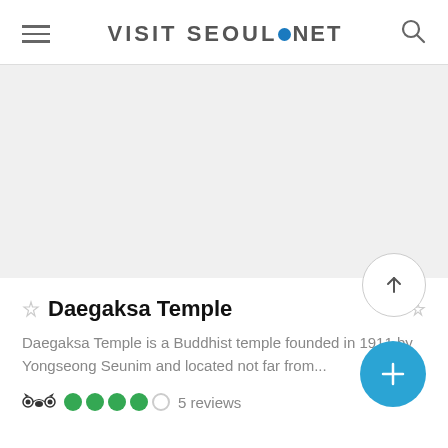VISIT SEOUL.NET
[Figure (photo): Large image placeholder area (light gray) showing a temple or scenic view - content not visible]
Daegaksa Temple
Daegaksa Temple is a Buddhist temple founded in 1911 by Yongseong Seunim and located not far from...
5 reviews